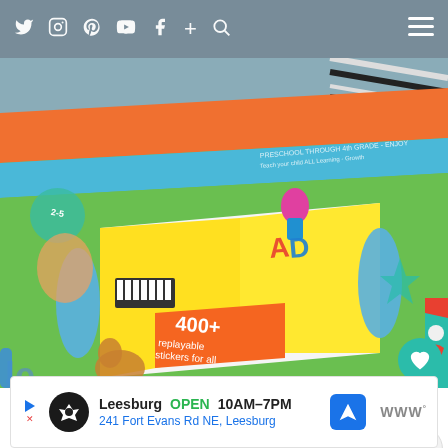Social media website header with icons: Twitter, Instagram, Pinterest, YouTube, Facebook, Plus, Search, Hamburger menu
[Figure (photo): A photo of a LeapFrog learning tablet/book toy packaging lying on a surface, showing the bright green box with colorful educational content, letters, piano keys, stickers, and product text '400+ replayable stickers for all'. The image appears rotated/angled.]
1
[Figure (infographic): Advertisement banner for a Leesburg store: logo circle, text 'Leesburg OPEN 10AM-7PM 241 Fort Evans Rd NE, Leesburg', navigation arrow icon, and brand logo]